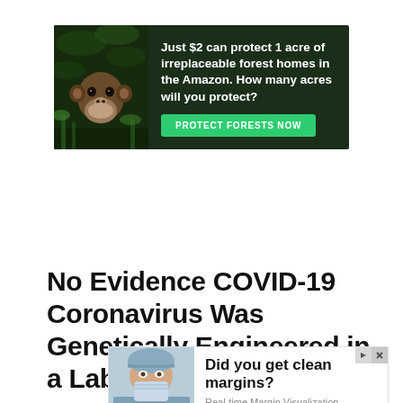[Figure (illustration): Advertisement banner for Amazon forest protection. Dark green forest background with monkey. Text: 'Just $2 can protect 1 acre of irreplaceable forest homes in the Amazon. How many acres will you protect?' with green 'PROTECT FORESTS NOW' button.]
No Evidence COVID-19 Coronavirus Was Genetically Engineered in a Lab – Epidemic
[Figure (illustration): Advertisement for Perimeter medical device company. Shows surgeon in scrubs, mask and cap. Text: 'Did you get clean margins?' with subtitle 'Real-time Margin Visualization Technology' and purple 'See the Benefits' button. Perimeter logo bottom right.]